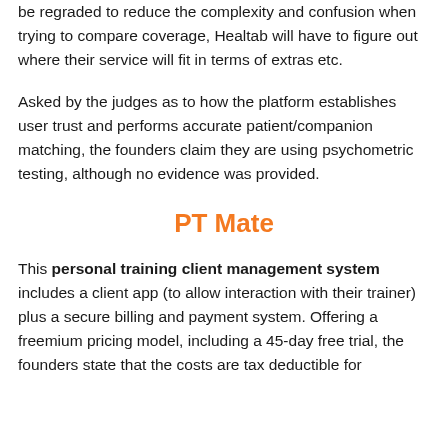be regraded to reduce the complexity and confusion when trying to compare coverage, Healtab will have to figure out where their service will fit in terms of extras etc.
Asked by the judges as to how the platform establishes user trust and performs accurate patient/companion matching, the founders claim they are using psychometric testing, although no evidence was provided.
PT Mate
This personal training client management system includes a client app (to allow interaction with their trainer) plus a secure billing and payment system. Offering a freemium pricing model, including a 45-day free trial, the founders state that the costs are tax deductible for